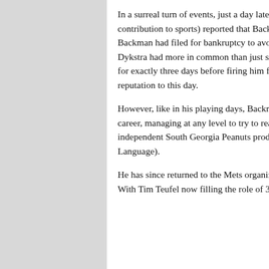In a surreal turn of events, just a day later, on HBO's Real Sports, Bryant Gumbel (making yet another stellar contribution to sports) reported that Backman had been arrested in 1999 for DUI.  It was also reported that Backman had filed for bankruptcy to avoid paying the IRS and other creditors (Seems Backman and Lenny Dykstra had more in common than just setting the table for the 80s Mets).  The Diamondbacks stood by him for exactly three days before firing him for lying about his past.  This turn of events has marred Backman's reputation to this day.
However, like in his playing days, Backman has pressed on despite the odds.  He's attempted to rebuild his career, managing at any level to try to reach his goal of managing in the big leagues.  His turn with the independent South Georgia Peanuts produced a 59-28 record and a viral video (WARNING: NSFW Language).
He has since returned to the Mets organization, managing at Class A Brooklyn and Class AA Binghamton.  With Tim Teufel now filling the role of 3rd Base Coach for the big club, Backman would likely be the